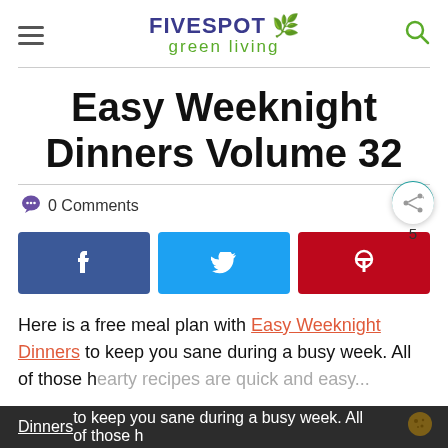FIVESPOT green living
Easy Weeknight Dinners Volume 32
0 Comments
[Figure (infographic): Social share buttons: Facebook (dark blue), Twitter (light blue), Pinterest (red), with like heart button (teal circle) showing count 5, and share icon]
Here is a free meal plan with Easy Weeknight Dinners to keep you sane during a busy week. All of those hearty recipes are quick and easy...